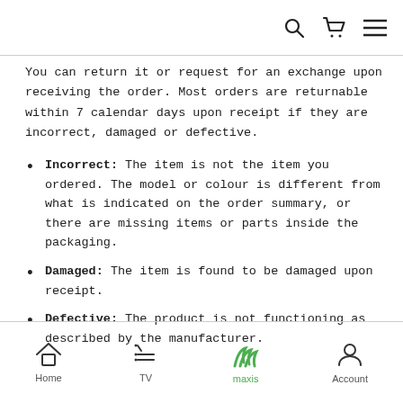You can return it or request for an exchange upon receiving the order. Most orders are returnable within 7 calendar days upon receipt if they are incorrect, damaged or defective.
Incorrect: The item is not the item you ordered. The model or colour is different from what is indicated on the order summary, or there are missing items or parts inside the packaging.
Damaged: The item is found to be damaged upon receipt.
Defective: The product is not functioning as described by the manufacturer.
Home  TV  maxis  Account